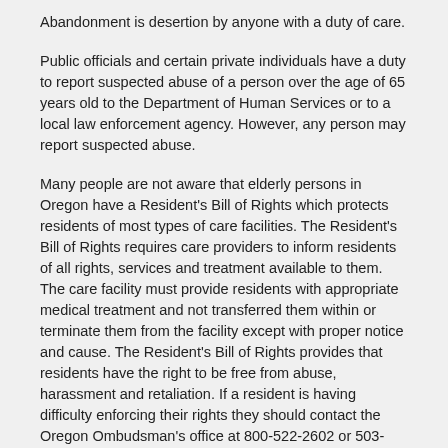Abandonment is desertion by anyone with a duty of care.
Public officials and certain private individuals have a duty to report suspected abuse of a person over the age of 65 years old to the Department of Human Services or to a local law enforcement agency. However, any person may report suspected abuse.
Many people are not aware that elderly persons in Oregon have a Resident's Bill of Rights which protects residents of most types of care facilities. The Resident's Bill of Rights requires care providers to inform residents of all rights, services and treatment available to them. The care facility must provide residents with appropriate medical treatment and not transferred them within or terminate them from the facility except with proper notice and cause. The Resident's Bill of Rights provides that residents have the right to be free from abuse, harassment and retaliation. If a resident is having difficulty enforcing their rights they should contact the Oregon Ombudsman's office at 800-522-2602 or 503-378-6533 for assistance. They have volunteers available to respond to problems in Central Oregon.
Elderly persons are often victims of fraud or scams including telemarketing scams that trick an elderly person into sending money to a third party for a variety of reasons including paying for a product,